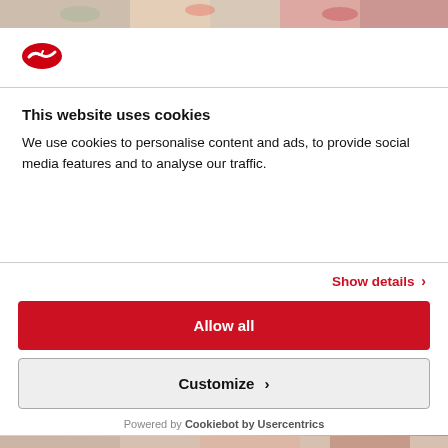[Figure (photo): Top strip showing food/grocery items partially visible]
[Figure (logo): Red oval logo with white checkmark/swoosh, resembling a food delivery or supermarket brand]
This website uses cookies
We use cookies to personalise content and ads, to provide social media features and to analyse our traffic.
Show details ›
Allow all
Customize ›
Powered by Cookiebot by Usercentrics
[Figure (photo): Bottom strip showing food/grocery items partially visible]